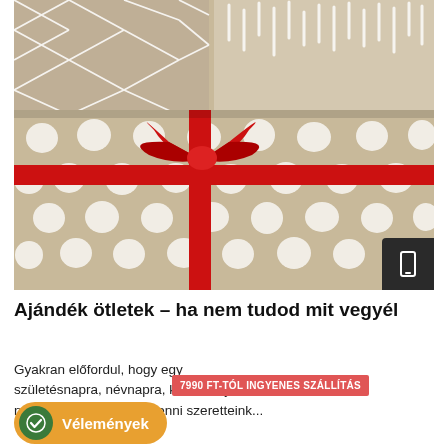[Figure (photo): Wrapped gift boxes with kraft paper, white dot pattern, red ribbon and bow on center box; smaller boxes with diamond and stripe patterns in background]
Ajándék ötletek – ha nem tudod mit vegyél
Gyakran előfordul, hogy egy születésnapra, névnapra, karácsonyra nem tudunk ajándékot venni szeretteink...